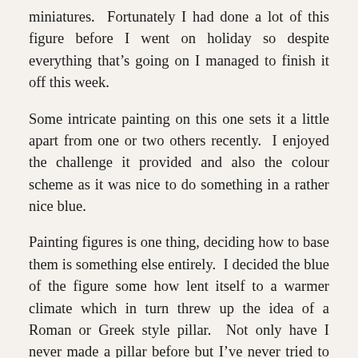miniatures.  Fortunately I had done a lot of this figure before I went on holiday so despite everything that's going on I managed to finish it off this week.
Some intricate painting on this one sets it a little apart from one or two others recently.  I enjoyed the challenge it provided and also the colour scheme as it was nice to do something in a rather nice blue.
Painting figures is one thing, deciding how to base them is something else entirely.  I decided the blue of the figure some how lent itself to a warmer climate which in turn threw up the idea of a Roman or Greek style pillar.  Not only have I never made a pillar before but I've never tried to produce a marble paint effect either.  Had I managed to do this one earlier it might have been a candidate for the August Technical challenge.
The pillar was made using various bits and pieces.  The